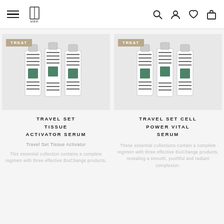MBR navigation header with hamburger menu, logo, search, account, wishlist, and cart icons
[Figure (photo): Travel Set Tissue Activator Serum product photo showing three white and silver serum bottles with black stripe design, with TREAT badge]
TRAVEL SET TISSUE ACTIVATOR SERUM
Travel Set Tissue Activator
This essential collection contains a complete regimen with three effective BioChange products,
[Figure (photo): Travel Set Cell Power Vital Serum product photo showing three white and silver serum bottles with black stripe design, with TREAT badge]
TRAVEL SET CELL POWER VITAL SERUM
These essential collections contain a complete regimen with three effective BioChange products, revealing a smooth, youthful and radiant complexion.